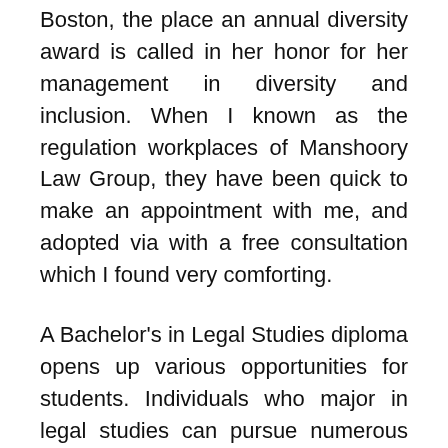Boston, the place an annual diversity award is called in her honor for her management in diversity and inclusion. When I known as the regulation workplaces of Manshoory Law Group, they have been quick to make an appointment with me, and adopted via with a free consultation which I found very comforting.
A Bachelor's in Legal Studies diploma opens up various opportunities for students. Individuals who major in legal studies can pursue numerous careers in regulation and associated fields. Some programs provide extra specialized, career-specific approaches than others.